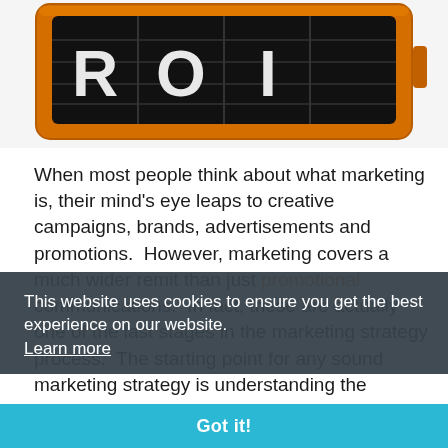[Figure (photo): An orange-framed scoreboard/odometer-style display showing the letters 'ROI' in white on black flip-board tiles, resembling a retro display sign.]
When most people think about what marketing is, their mind's eye leaps to creative campaigns, brands, advertisements and promotions.  However, marketing covers a much wider remit than just promotional communications.  In fact, these are actually one of the last stages in the marketing strategy process.  The starting point for any sound marketing strategy is understanding the analytics, the maths behind the marketing.
This website uses cookies to ensure you get the best experience on our website. Learn more
Got it!
When we consider the maths behind marketing, all roads lead to ROI (return on investment).  After all, if you are not generating positive returns from your